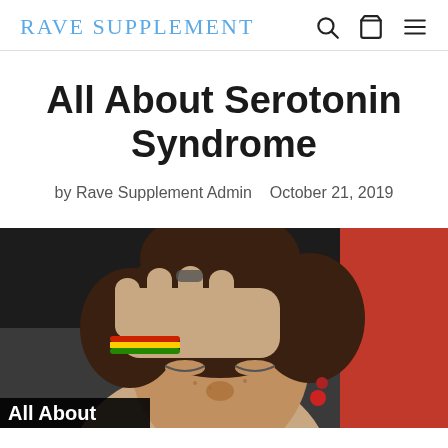RAVE SUPPLEMENT
All About Serotonin Syndrome
by Rave Supplement Admin   October 21, 2019
[Figure (photo): Close-up photo of a young person with curly hair placing their hand on their forehead with eyes closed, wearing colorful bracelets and red ball earrings, with an orange/red background visible. Text overlay reads 'All About' in white bold text on black background at bottom left.]